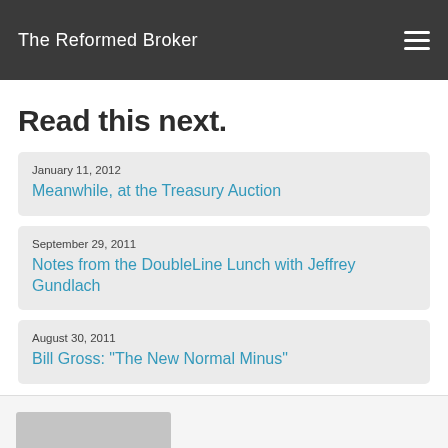The Reformed Broker
Read this next.
January 11, 2012
Meanwhile, at the Treasury Auction
September 29, 2011
Notes from the DoubleLine Lunch with Jeffrey Gundlach
August 30, 2011
Bill Gross: "The New Normal Minus"